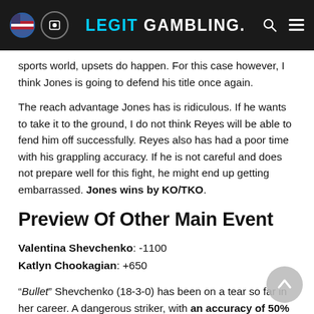LEGIT GAMBLING.
sports world, upsets do happen. For this case however, I think Jones is going to defend his title once again.
The reach advantage Jones has is ridiculous. If he wants to take it to the ground, I do not think Reyes will be able to fend him off successfully. Reyes also has had a poor time with his grappling accuracy. If he is not careful and does not prepare well for this fight, he might end up getting embarrassed. Jones wins by KO/TKO.
Preview Of Other Main Event
Valentina Shevchenko: -1100
Katlyn Chookagian: +650
“Bullet” Shevchenko (18-3-0) has been on a tear so far in her career. A dangerous striker, with an accuracy of 50% and a grappling accuracy of 51% respectively.
She has a well balanced combination of wins, meaning she can claim victory in any category she pleases. She has a reach of 67 inches, which is something to be a little concerned about against taller